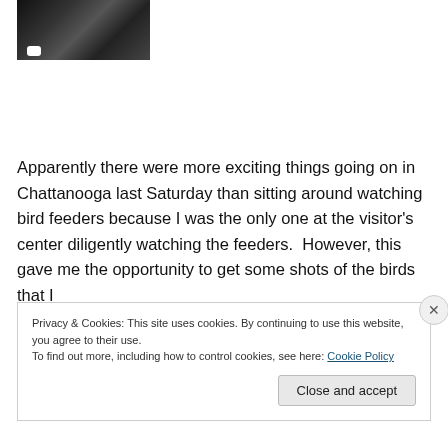[Figure (photo): Partial photo of a black and white animal (cow) on grass background, cropped — only lower portion visible]
Apparently there were more exciting things going on in Chattanooga last Saturday than sitting around watching bird feeders because I was the only one at the visitor's center diligently watching the feeders.  However, this gave me the opportunity to get some shots of the birds that I
Privacy & Cookies: This site uses cookies. By continuing to use this website, you agree to their use.
To find out more, including how to control cookies, see here: Cookie Policy